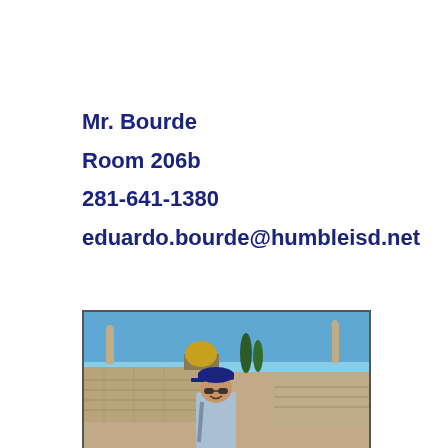Mr. Bourde
Room 206b
281-641-1380
eduardo.bourde@humbleisd.net
[Figure (photo): Photo of Mr. Bourde standing in front of the Western Wall and Dome of the Rock in Jerusalem, wearing a blue cap and sunglasses, smiling at the camera.]